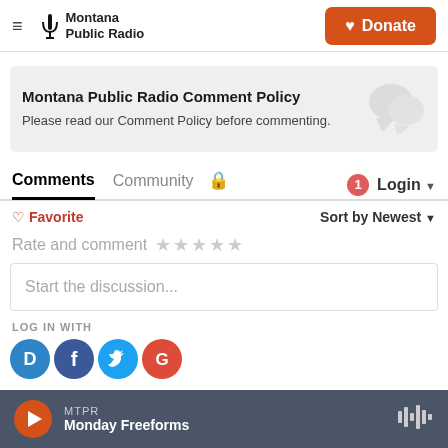Montana Public Radio — Donate
Montana Public Radio Comment Policy
Please read our Comment Policy before commenting.
Comments   Community   🔒   1   Login ▾
♡ Favorite   Sort by Newest ▾
Rate and comment ★★★★★
Start the discussion...
LOG IN WITH
[Figure (screenshot): Social login icons: Disqus (blue D), Facebook (blue f), Twitter (blue bird), Google (red G)]
MTPR — Monday Freeforms (player bar)